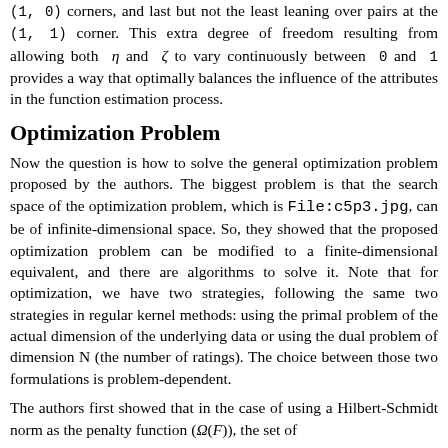(1,0) corners, and last but not the least leaning over pairs at the (1,1) corner. This extra degree of freedom resulting from allowing both η and ζ to vary continuously between 0 and 1 provides a way that optimally balances the influence of the attributes in the function estimation process.
Optimization Problem
Now the question is how to solve the general optimization problem proposed by the authors. The biggest problem is that the search space of the optimization problem, which is File:c5p3.jpg, can be of infinite-dimensional space. So, they showed that the proposed optimization problem can be modified to a finite-dimensional equivalent, and there are algorithms to solve it. Note that for optimization, we have two strategies, following the same two strategies in regular kernel methods: using the primal problem of the actual dimension of the underlying data or using the dual problem of dimension N (the number of ratings). The choice between those two formulations is problem-dependent.
The authors first showed that in the case of using a Hilbert-Schmidt norm as the penalty function (Ω(F)), the set of {F ∈ B₀(Y, X) : Ω(F) < ∞} is the set of Hilbert-Schmidt operators, limiting this to...